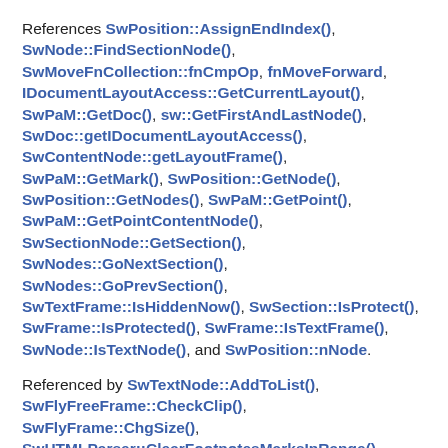References SwPosition::AssignEndIndex(), SwNode::FindSectionNode(), SwMoveFnCollection::fnCmpOp, fnMoveForward, IDocumentLayoutAccess::GetCurrentLayout(), SwPaM::GetDoc(), sw::GetFirstAndLastNode(), SwDoc::getIDocumentLayoutAccess(), SwContentNode::getLayoutFrame(), SwPaM::GetMark(), SwPosition::GetNode(), SwPosition::GetNodes(), SwPaM::GetPoint(), SwPaM::GetPointContentNode(), SwSectionNode::GetSection(), SwNodes::GoNextSection(), SwNodes::GoPrevSection(), SwTextFrame::IsHiddenNow(), SwSection::IsProtect(), SwFrame::IsProtected(), SwFrame::IsTextFrame(), SwNode::IsTextNode(), and SwPosition::nNode.
Referenced by SwTextNode::AddToList(), SwFlyFreeFrame::CheckClip(), SwFlyFrame::ChgSize(), SwHTMLParser::ClearFootnotesMarksInRange(), SwFEShell::Copy(), SwFEShell::DeleteRow(), DelFlyInRange(), SwBreakDashedLine::execute(),